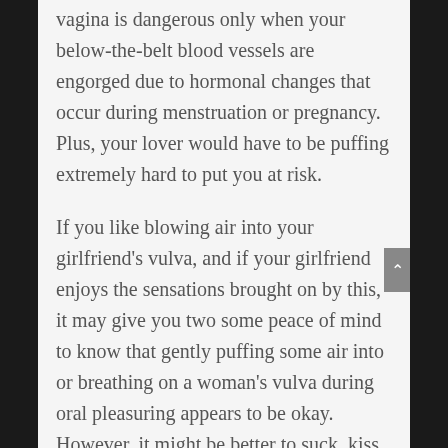vagina is dangerous only when your below-the-belt blood vessels are engorged due to hormonal changes that occur during menstruation or pregnancy. Plus, your lover would have to be puffing extremely hard to put you at risk.
If you like blowing air into your girlfriend's vulva, and if your girlfriend enjoys the sensations brought on by this, it may give you two some peace of mind to know that gently puffing some air into or breathing on a woman's vulva during oral pleasuring appears to be okay. However, it might be better to suck, kiss, lick, probe, and press (with lips or fingers), or lightly nibble a woman's vulva or clitoris than blow or force air directly into her